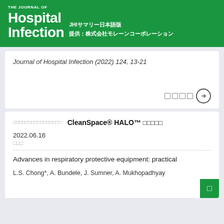THE JOURNAL OF Hospital Infection JHIサマリー日本語版 提供：株式会社モレーンコーポレーション
Journal of Hospital Infection (2022) 124, 13-21
□□□□□□□□□□□□□□□□ CleanSpace® HALO™ □□□□□
2022.06.16
□□□
Advances in respiratory protective equipment: practical
L.S. Chong*, A. Bundele, J. Sumner, A. Mukhopadhyay